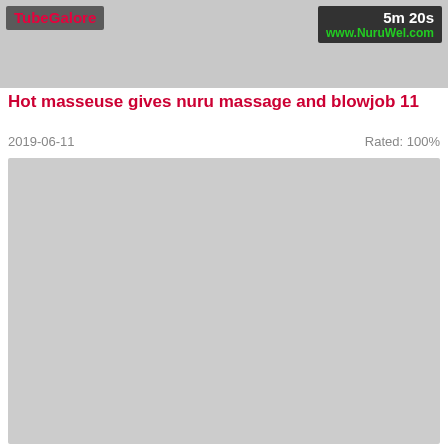[Figure (screenshot): Video thumbnail from TubeGalore showing a massage scene. Overlay shows 'TubeGalore' logo on top-left and '5m 20s' duration with 'www.NuruWel.com' watermark on top-right.]
Hot masseuse gives nuru massage and blowjob 11
2019-06-11    Rated: 100%
[Figure (screenshot): Large grey placeholder area below the metadata, representing an embedded video player or blurred content area.]